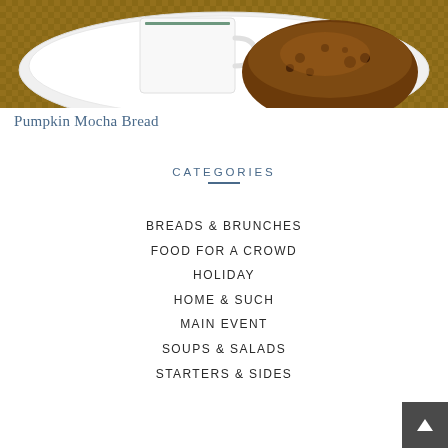[Figure (photo): Photo of a white bowl/plate containing a cup with a green stripe and a pumpkin chocolate chip muffin/bread slice, on a woven rattan surface]
Pumpkin Mocha Bread
CATEGORIES
BREADS & BRUNCHES
FOOD FOR A CROWD
HOLIDAY
HOME & SUCH
MAIN EVENT
SOUPS & SALADS
STARTERS & SIDES